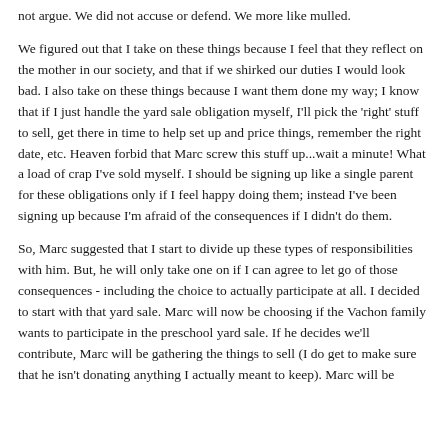not argue. We did not accuse or defend. We more like mulled.
We figured out that I take on these things because I feel that they reflect on the mother in our society, and that if we shirked our duties I would look bad. I also take on these things because I want them done my way; I know that if I just handle the yard sale obligation myself, I'll pick the 'right' stuff to sell, get there in time to help set up and price things, remember the right date, etc. Heaven forbid that Marc screw this stuff up...wait a minute! What a load of crap I've sold myself. I should be signing up like a single parent for these obligations only if I feel happy doing them; instead I've been signing up because I'm afraid of the consequences if I didn't do them.
So, Marc suggested that I start to divide up these types of responsibilities with him. But, he will only take one on if I can agree to let go of those consequences - including the choice to actually participate at all. I decided to start with that yard sale. Marc will now be choosing if the Vachon family wants to participate in the preschool yard sale. If he decides we'll contribute, Marc will be gathering the things to sell (I do get to make sure that he isn't donating anything I actually meant to keep). Marc will be